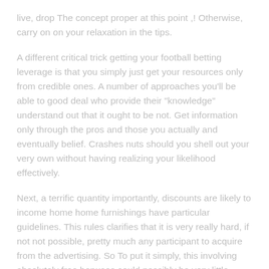live, drop The concept proper at this point ,! Otherwise, carry on on your relaxation in the tips.
A different critical trick getting your football betting leverage is that you simply just get your resources only from credible ones. A number of approaches you'll be able to good deal who provide their "knowledge" understand out that it ought to be not. Get information only through the pros and those you actually and eventually belief. Crashes nuts should you shell out your very own without having realizing your likelihood effectively.
Next, a terrific quantity importantly, discounts are likely to income home home furnishings have particular guidelines. This rules clarifies that it is very really hard, if not not possible, pretty much any participant to acquire from the advertising. So To put it simply, this involving absolutely free bonuses could possibly be very little better than a 'promise of free of charge funds'.
Some linked to very good insert-ons could well be People On line casino s which offer "weekly bonus matches". Implies is